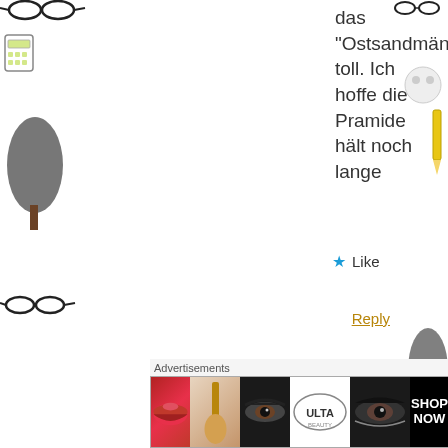das "Ostsandmännchen" toll. Ich hoffe die Pramide hält noch lange
★ Like
Reply
Be66
Seltz
Advertisements